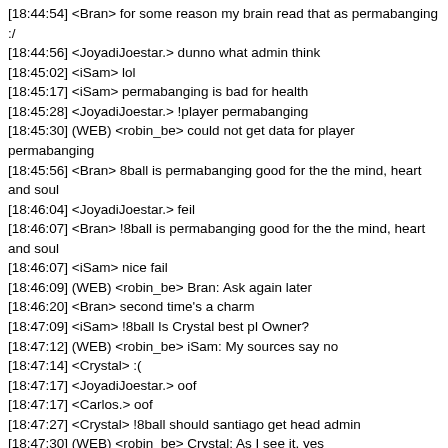[18:44:54] <Bran> for some reason my brain read that as permabanging :/
[18:44:56] <JoyadiJoestar.> dunno what admin think
[18:45:02] <iSam> lol
[18:45:17] <iSam> permabanging is bad for health
[18:45:28] <JoyadiJoestar.> !player permabanging
[18:45:30] (WEB) <robin_be> could not get data for player permabanging
[18:45:56] <Bran> 8ball is permabanging good for the the mind, heart and soul
[18:46:04] <JoyadiJoestar.> feil
[18:46:07] <Bran> !8ball is permabanging good for the the mind, heart and soul
[18:46:07] <iSam> nice fail
[18:46:09] (WEB) <robin_be> Bran: Ask again later
[18:46:20] <Bran> second time's a charm
[18:47:09] <iSam> !8ball Is Crystal best pl Owner?
[18:47:12] (WEB) <robin_be> iSam: My sources say no
[18:47:14] <Crystal> :(
[18:47:17] <JoyadiJoestar.> oof
[18:47:17] <Carlos.> oof
[18:47:27] <Crystal> !8ball should santiago get head admin
[18:47:30] (WEB) <robin_be> Crystal: As I see it, yes
[18:47:30] <Crystal> bots broken
[18:47:32] <JoyadiJoestar.> yes